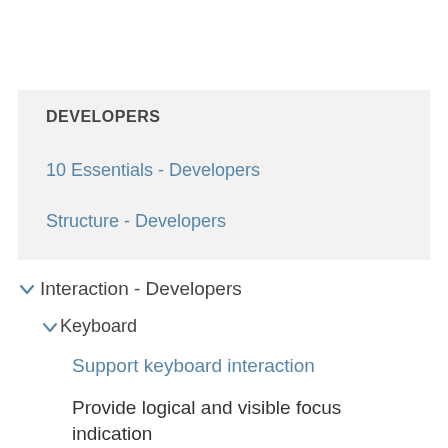DEVELOPERS
10 Essentials - Developers
Structure - Developers
Interaction - Developers
Keyboard
Support keyboard interaction
Provide logical and visible focus indication